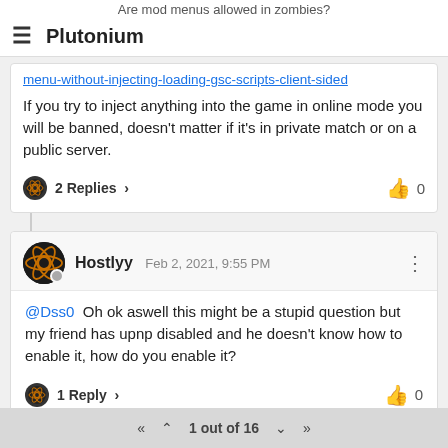Are mod menus allowed in zombies?
Plutonium
menu-without-injecting-loading-gsc-scripts-client-sided
If you try to inject anything into the game in online mode you will be banned, doesn't matter if it's in private match or on a public server.
2 Replies > 0
Hostlyy Feb 2, 2021, 9:55 PM
@Dss0  Oh ok aswell this might be a stupid question but my friend has upnp disabled and he doesn't know how to enable it, how do you enable it?
1 Reply > 0
Marty59 Feb 2, 2021, 10:05 PM
1 out of 16